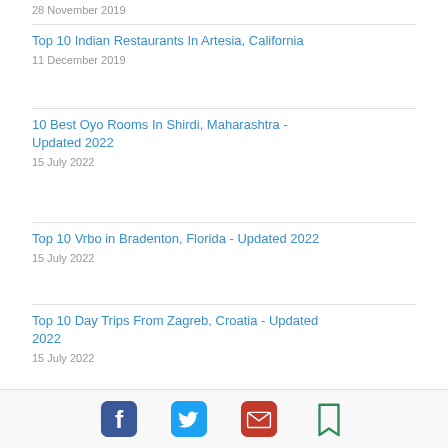28 November 2019
Top 10 Indian Restaurants In Artesia, California
11 December 2019
10 Best Oyo Rooms In Shirdi, Maharashtra - Updated 2022
15 July 2022
Top 10 Vrbo in Bradenton, Florida - Updated 2022
15 July 2022
Top 10 Day Trips From Zagreb, Croatia - Updated 2022
15 July 2022
[Figure (infographic): Bottom share bar with Facebook, Twitter, email, and bookmark icons]